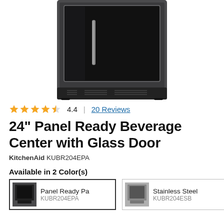[Figure (photo): KitchenAid beverage center with dark panel-ready finish and glass door, viewed from front, showing black interior and stainless accents]
★★★★☆ 4.4 | 20 Reviews
24" Panel Ready Beverage Center with Glass Door
KitchenAid KUBR204EPA
Available in 2 Color(s)
Panel Ready Pa
KUBR204EPA
Stainless Steel
KUBR204ESB